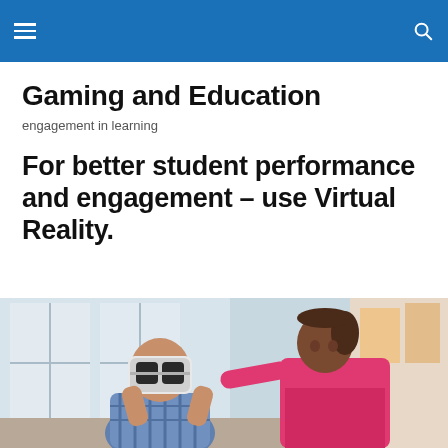Gaming and Education — navigation header
Gaming and Education
engagement in learning
For better student performance and engagement – use Virtual Reality.
[Figure (photo): Two children using a VR headset in a classroom. A boy in a plaid shirt holds a white VR headset up to his face while a girl in a pink long-sleeve shirt helps him put it on.]